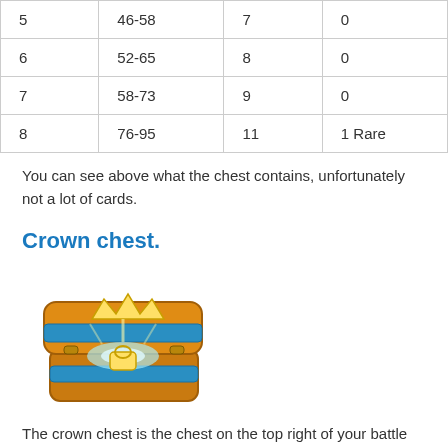| 5 | 46-58 | 7 | 0 |
| 6 | 52-65 | 8 | 0 |
| 7 | 58-73 | 9 | 0 |
| 8 | 76-95 | 11 | 1 Rare |
You can see above what the chest contains, unfortunately not a lot of cards.
Crown chest.
[Figure (illustration): A golden crown chest with blue accents, open and glowing with light, from a mobile game.]
The crown chest is the chest on the top right of your battle screen.